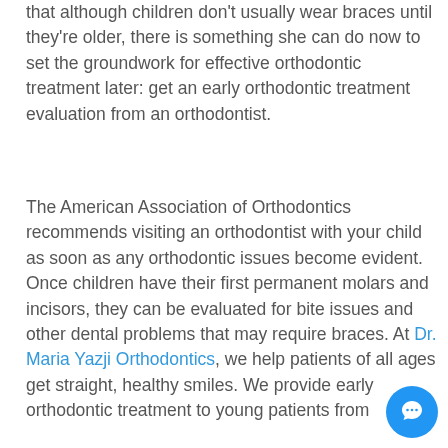that although children don't usually wear braces until they're older, there is something she can do now to set the groundwork for effective orthodontic treatment later: get an early orthodontic treatment evaluation from an orthodontist.
The American Association of Orthodontics recommends visiting an orthodontist with your child as soon as any orthodontic issues become evident. Once children have their first permanent molars and incisors, they can be evaluated for bite issues and other dental problems that may require braces. At Dr. Maria Yazji Orthodontics, we help patients of all ages get straight, healthy smiles. We provide early orthodontic treatment to young patients from